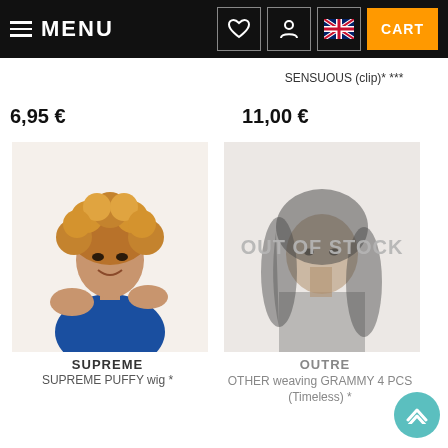≡ MENU | ♥ | 👤 | 🇬🇧 | CART
SENSUOUS (clip)* ***
6,95 €
11,00 €
[Figure (photo): Woman with short curly blonde/auburn hair wig, smiling, wearing blue dress - SUPREME PUFFY wig product photo]
[Figure (photo): Woman with long wavy dark hair weave, faded/greyed overlay with OUT OF STOCK text - OUTRE GRAMMY 4 PCS (Timeless) product photo]
SUPREME
SUPREME PUFFY wig *
OUTRE
OTHER weaving GRAMMY 4 PCS (Timeless) *